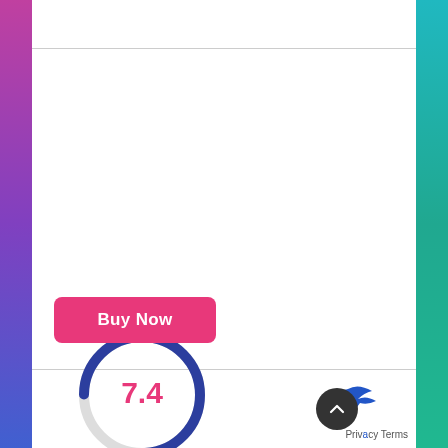Kicker KB6B 2-Way Full Range Indoor Outdoor Speakers (Pair) Weatherproof Speakers for Patio Sunroom Garage Poolside in-Home | 6.5 inch woofer, 2×5 inch Horn Tweeter | Quick Mounting System Black
[Figure (other): Pink 'Buy Now' button above a circular score gauge showing 7.4 in pink text, with a dark blue arc on the gauge]